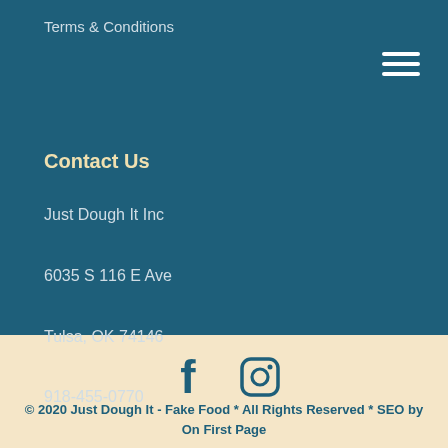Terms & Conditions
Contact Us
Just Dough It Inc
6035 S 116 E Ave
Tulsa, OK 74146
918-455-0770
[Figure (illustration): Facebook and Instagram social media icons]
© 2020 Just Dough It - Fake Food * All Rights Reserved * SEO by On First Page